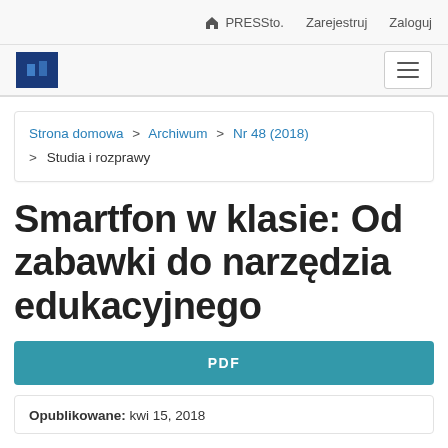PRESSto.  Zarejestruj  Zaloguj
[Figure (logo): Blue university/journal logo icon]
Strona domowa > Archiwum > Nr 48 (2018) > Studia i rozprawy
Smartfon w klasie: Od zabawki do narzędzia edukacyjnego
PDF
Opublikowane: kwi 15, 2018